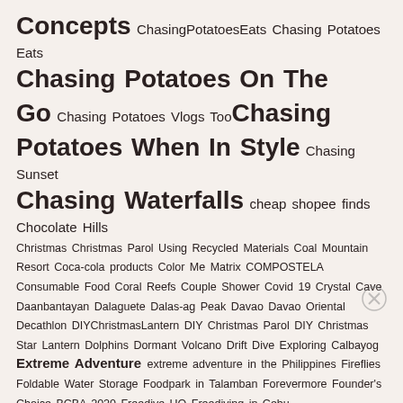Concepts ChasingPotatoesEats Chasing Potatoes Eats Chasing Potatoes On The Go Chasing Potatoes Vlogs Too Chasing Potatoes When In Style Chasing Sunset Chasing Waterfalls cheap shopee finds Chocolate Hills Christmas Christmas Parol Using Recycled Materials Coal Mountain Resort Coca-cola products Color Me Matrix COMPOSTELA Consumable Food Coral Reefs Couple Shower Covid 19 Crystal Cave Daanbantayan Dalaguete Dalas-ag Peak Davao Davao Oriental Decathlon DIYChristmasLantern DIY Christmas Parol DIY Christmas Star Lantern Dolphins Dormant Volcano Drift Dive Exploring Calbayog Extreme Adventure extreme adventure in the Philippines Fireflies Foldable Water Storage Foodpark in Talamban Forevermore Founder's Choice BCBA 2020 Freedive HQ Freediving in Cebu
Advertisements